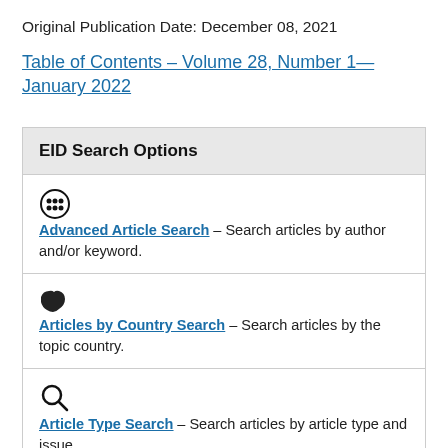Original Publication Date: December 08, 2021
Table of Contents – Volume 28, Number 1—January 2022
EID Search Options
Advanced Article Search – Search articles by author and/or keyword.
Articles by Country Search – Search articles by the topic country.
Article Type Search – Search articles by article type and issue.